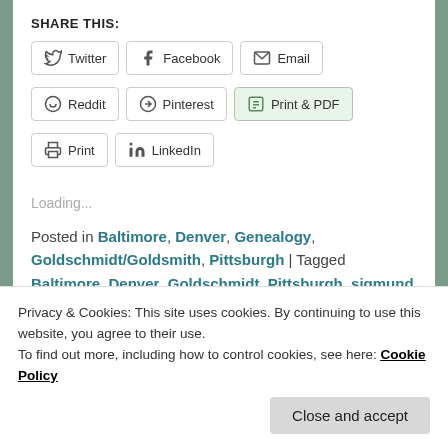SHARE THIS:
Twitter | Facebook | Email | Reddit | Pinterest | Print & PDF | Print | LinkedIn
Loading...
Posted in Baltimore, Denver, Genealogy, Goldschmidt/Goldsmith, Pittsburgh | Tagged Baltimore, Denver, Goldschmidt, Pittsburgh, sigmund | 12 Replies
Privacy & Cookies: This site uses cookies. By continuing to use this website, you agree to their use.
To find out more, including how to control cookies, see here: Cookie Policy
Close and accept
happened to his son